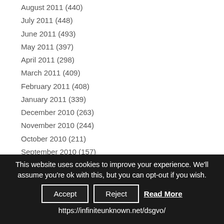August 2011 (440)
July 2011 (448)
June 2011 (493)
May 2011 (397)
April 2011 (298)
March 2011 (409)
February 2011 (408)
January 2011 (339)
December 2010 (263)
November 2010 (244)
October 2010 (211)
September 2010 (157)
August 2010 (169)
July 2010 (157)
June 2010 (155)
This website uses cookies to improve your experience. We'll assume you're ok with this, but you can opt-out if you wish.
Accept | Reject | Read More
https://infiniteunknown.net/dsgvo/